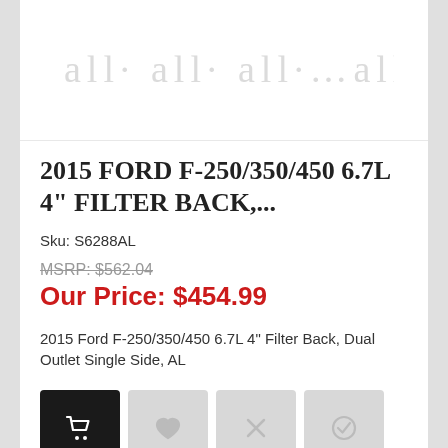[Figure (illustration): Product image placeholder with decorative script text watermark]
2015 FORD F-250/350/450 6.7L 4" FILTER BACK,...
Sku: S6288AL
MSRP: $562.04
Our Price: $454.99
2015 Ford F-250/350/450 6.7L 4" Filter Back, Dual Outlet Single Side, AL
[Figure (infographic): Four action buttons: add to cart (black), wishlist (heart), compare (X), check/verify (checkmark)]